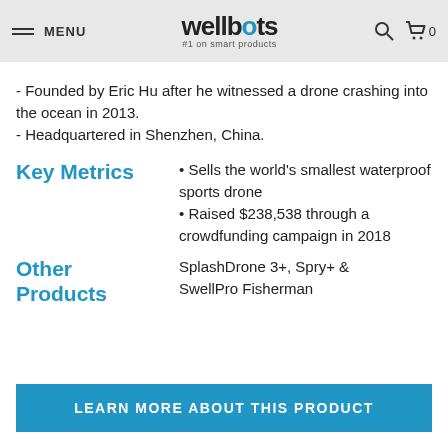MENU | wellbots #1 on smart products
- Founded by Eric Hu after he witnessed a drone crashing into the ocean in 2013.
- Headquartered in Shenzhen, China.
Key Metrics
• Sells the world's smallest waterproof sports drone
• Raised $238,538 through a crowdfunding campaign in 2018
Other Products
SplashDrone 3+, Spry+ & SwellPro Fisherman
LEARN MORE ABOUT THIS PRODUCT